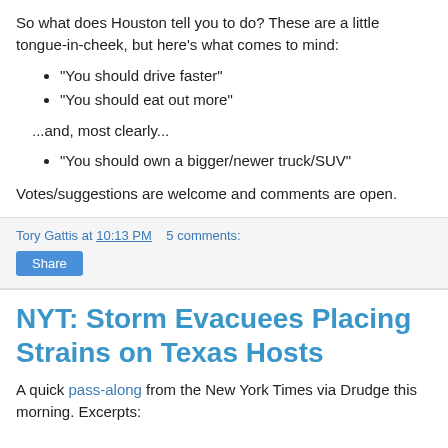So what does Houston tell you to do? These are a little tongue-in-cheek, but here's what comes to mind:
"You should drive faster"
"You should eat out more"
...and, most clearly...
"You should own a bigger/newer truck/SUV"
Votes/suggestions are welcome and comments are open.
Tory Gattis at 10:13 PM    5 comments:
Share
NYT: Storm Evacuees Placing Strains on Texas Hosts
A quick pass-along from the New York Times via Drudge this morning. Excerpts: